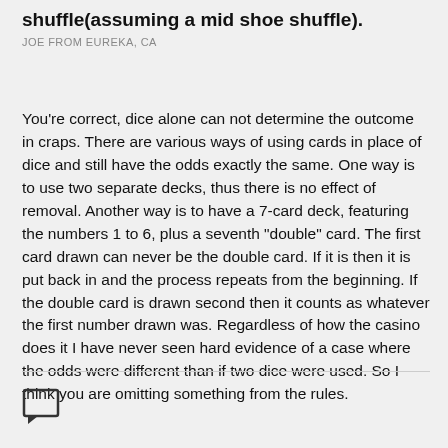shuffle(assuming a mid shoe shuffle).
JOE FROM EUREKA, CA
You're correct, dice alone can not determine the outcome in craps. There are various ways of using cards in place of dice and still have the odds exactly the same. One way is to use two separate decks, thus there is no effect of removal. Another way is to have a 7-card deck, featuring the numbers 1 to 6, plus a seventh "double" card. The first card drawn can never be the double card. If it is then it is put back in and the process repeats from the beginning. If the double card is drawn second then it counts as whatever the first number drawn was. Regardless of how the casino does it I have never seen hard evidence of a case where the odds were different than if two dice were used. So I think you are omitting something from the rules.
[Figure (illustration): Chat/comment icon (square speech bubble outline)]